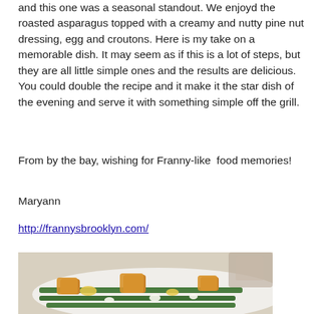and this one was a seasonal standout. We enjoyd the roasted asparagus topped with a creamy and nutty pine nut dressing, egg and croutons. Here is my take on a memorable dish. It may seem as if this is a lot of steps, but they are all little simple ones and the results are delicious. You could double the recipe and it make it the star dish of the evening and serve it with something simple off the grill.
From by the bay, wishing for Franny-like  food memories!
Maryann
http://frannysbrooklyn.com/
[Figure (photo): Photo of roasted asparagus topped with croutons, egg, and pine nut dressing on a white plate]